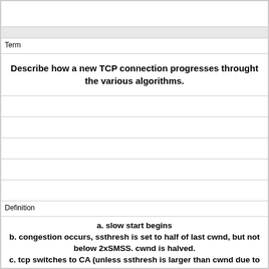Term
Describe how a new TCP connection progresses throught the various algorithms.
Definition
a. slow start begins
b. congestion occurs, ssthresh is set to half of last cwnd, but not below 2xSMSS. cwnd is halved.
c. tcp switches to CA (unless ssthresh is larger than cwnd due to cwnd being <2xSMSS) and cwnd creeps up over time from ssthresh.
i. if cwnd<ssthresh after a congestion event, ss will be used